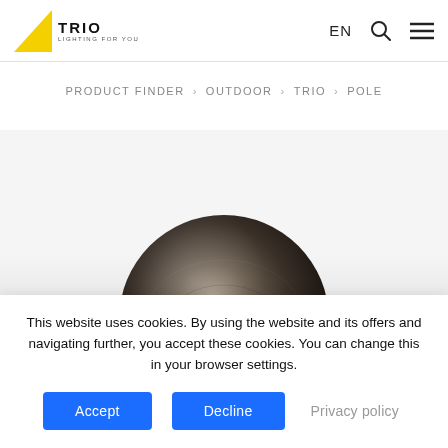TRIO LIGHTING FOR YOU — EN
PRODUCT FINDER > OUTDOOR > TRIO > POLE
[Figure (photo): Partial view of a dark metallic spherical lamp head, photographed against a light grey background]
This website uses cookies. By using the website and its offers and navigating further, you accept these cookies. You can change this in your browser settings.
Accept | Decline | Privacy policy